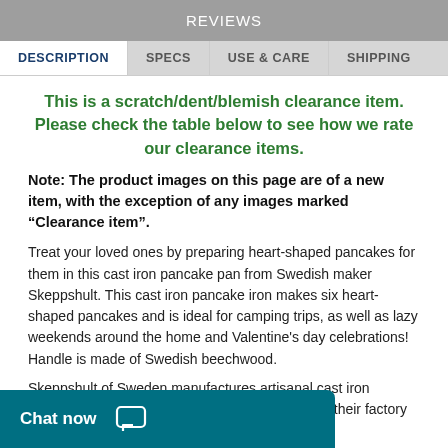REVIEWS
DESCRIPTION | SPECS | USE & CARE | SHIPPING
This is a scratch/dent/blemish clearance item. Please check the table below to see how we rate our clearance items.
Note: The product images on this page are of a new item, with the exception of any images marked “Clearance item”.
Treat your loved ones by preparing heart-shaped pancakes for them in this cast iron pancake pan from Swedish maker Skeppshult. This cast iron pancake iron makes six heart-shaped pancakes and is ideal for camping trips, as well as lazy weekends around the home and Valentine's day celebrations! Handle is made of Swedish beechwood.
Skeppshult of Sweden manufactures artisanal cast iron cookware from strictly controlled raw materials in their factory in ... als, their products have ... xplains how they can